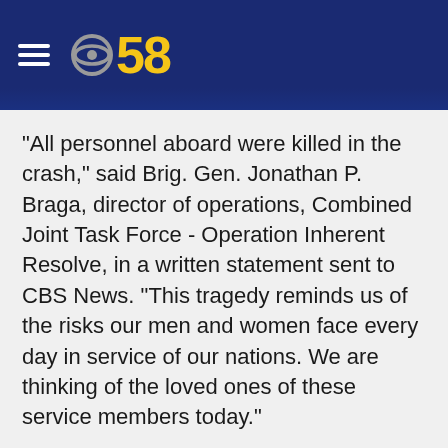CBS 58
"All personnel aboard were killed in the crash," said Brig. Gen. Jonathan P. Braga, director of operations, Combined Joint Task Force - Operation Inherent Resolve, in a written statement sent to CBS News. "This tragedy reminds us of the risks our men and women face every day in service of our nations. We are thinking of the loved ones of these service members today."
The cause of the crash was under investigation.
Government officials in Baghdad told CBS News the Iraqi Army 8th division assisted U.S. forces to secure the crash site.
U.S. Defense Secretary James Mattis, who was